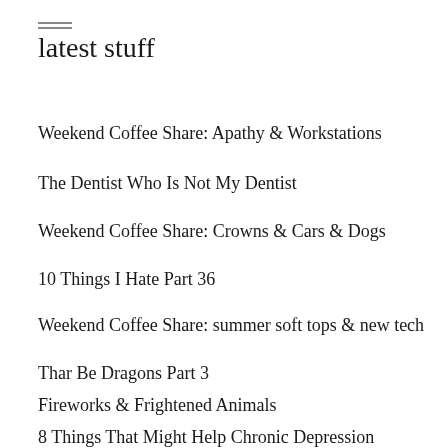latest stuff
Weekend Coffee Share: Apathy & Workstations
The Dentist Who Is Not My Dentist
Weekend Coffee Share: Crowns & Cars & Dogs
10 Things I Hate Part 36
Weekend Coffee Share: summer soft tops & new tech
Thar Be Dragons Part 3
Fireworks & Frightened Animals
8 Things That Might Help Chronic Depression